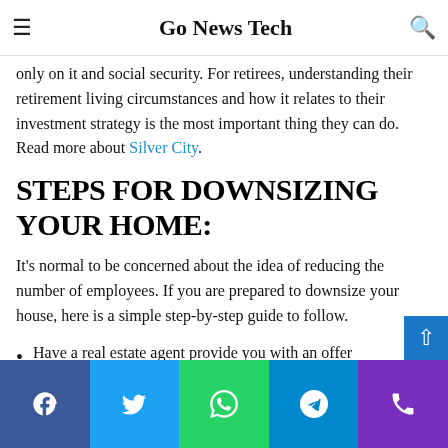Go News Tech
only on it and social security. For retirees, understanding their retirement living circumstances and how it relates to their investment strategy is the most important thing they can do. Read more about Silver City.
STEPS FOR DOWNSIZING YOUR HOME:
It's normal to be concerned about the idea of reducing the number of employees. If you are prepared to downsize your house, here is a simple step-by-step guide to follow.
Have a real estate agent provide you with an offer
Facebook | Twitter | WhatsApp | Telegram | Phone